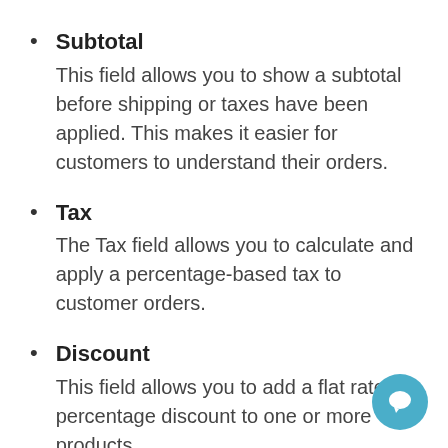Subtotal
This field allows you to show a subtotal before shipping or taxes have been applied. This makes it easier for customers to understand their orders.
Tax
The Tax field allows you to calculate and apply a percentage-based tax to customer orders.
Discount
This field allows you to add a flat rate or percentage discount to one or more products.